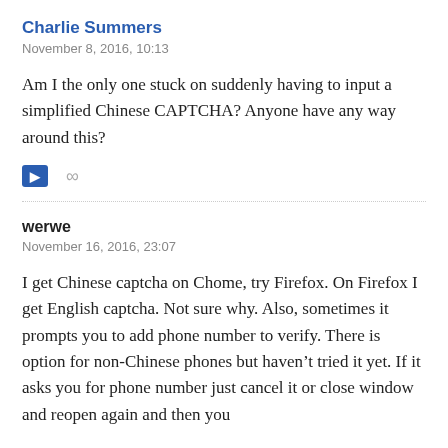Charlie Summers
November 8, 2016, 10:13
Am I the only one stuck on suddenly having to input a simplified Chinese CAPTCHA? Anyone have any way around this?
werwe
November 16, 2016, 23:07
I get Chinese captcha on Chome, try Firefox. On Firefox I get English captcha. Not sure why. Also, sometimes it prompts you to add phone number to verify. There is option for non-Chinese phones but haven't tried it yet. If it asks you for phone number just cancel it or close window and reopen again and then you